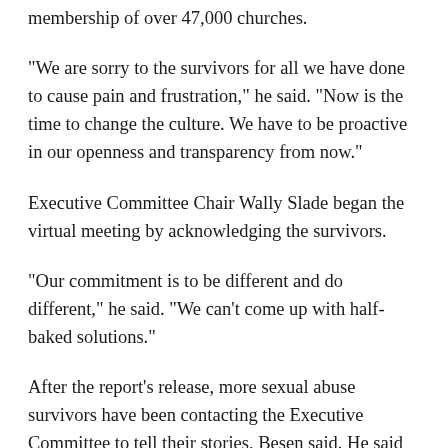membership of over 47,000 churches.
"We are sorry to the survivors for all we have done to cause pain and frustration," he said. "Now is the time to change the culture. We have to be proactive in our openness and transparency from now."
Executive Committee Chair Wally Slade began the virtual meeting by acknowledging the survivors.
"Our commitment is to be different and do different," he said. "We can't come up with half-baked solutions."
After the report's release, more sexual abuse survivors have been contacting the Executive Committee to tell their stories, Besen said. He said he has asked Guidepost to open up a hotline so survivors who reach out "are directed to the proper